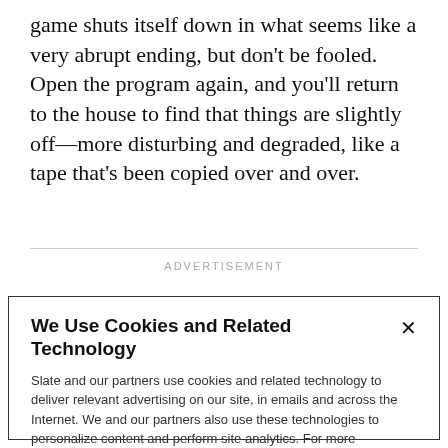game shuts itself down in what seems like a very abrupt ending, but don't be fooled. Open the program again, and you'll return to the house to find that things are slightly off—more disturbing and degraded, like a tape that's been copied over and over.
ADVERTISEMENT
We Use Cookies and Related Technology
Slate and our partners use cookies and related technology to deliver relevant advertising on our site, in emails and across the Internet. We and our partners also use these technologies to personalize content and perform site analytics. For more information, see our terms and privacy policy.  Privacy Policy
OK